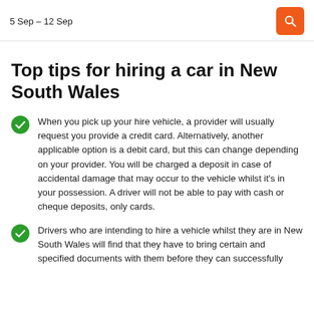5 Sep – 12 Sep
Top tips for hiring a car in New South Wales
When you pick up your hire vehicle, a provider will usually request you provide a credit card. Alternatively, another applicable option is a debit card, but this can change depending on your provider. You will be charged a deposit in case of accidental damage that may occur to the vehicle whilst it's in your possession. A driver will not be able to pay with cash or cheque deposits, only cards.
Drivers who are intending to hire a vehicle whilst they are in New South Wales will find that they have to bring certain and specified documents...